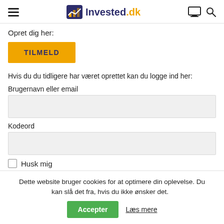Invested.dk
Opret dig her:
TILMELD
Hvis du du tidligere har været oprettet kan du logge ind her:
Brugernavn eller email
Kodeord
Husk mig
Dette website bruger cookies for at optimere din oplevelse. Du kan slå det fra, hvis du ikke ønsker det.
Accepter
Læs mere